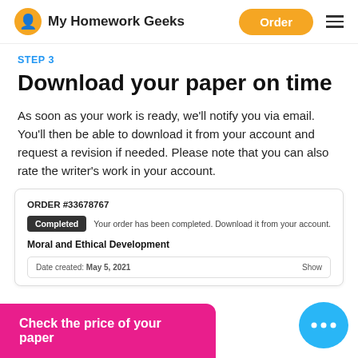My Homework Geeks | Order
STEP 3
Download your paper on time
As soon as your work is ready, we'll notify you via email. You'll then be able to download it from your account and request a revision if needed. Please note that you can also rate the writer's work in your account.
| ORDER #33678767 |  |  |
| --- | --- | --- |
| Completed | Your order has been completed. Download it from your account. |  |
| Moral and Ethical Development |  |  |
| Date created: May 5, 2021 |  | Show |
Check the price of your paper